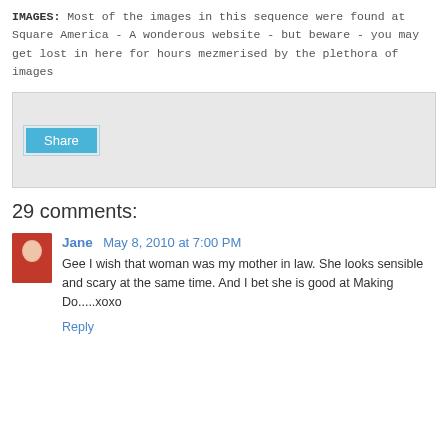IMAGES: Most of the images in this sequence were found at Square America - A wonderous website - but beware - you may get lost in here for hours mezmerised by the plethora of images
[Figure (screenshot): A grey share widget box with a 'Share' button in blue]
29 comments:
Jane  May 8, 2010 at 7:00 PM
Gee I wish that woman was my mother in law. She looks sensible and scary at the same time. And I bet she is good at Making Do.....xoxo
Reply